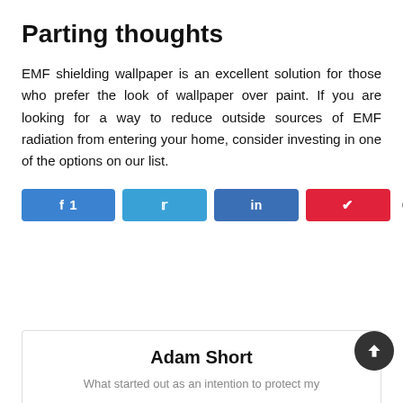Parting thoughts
EMF shielding wallpaper is an excellent solution for those who prefer the look of wallpaper over paint. If you are looking for a way to reduce outside sources of EMF radiation from entering your home, consider investing in one of the options on our list.
Social share buttons: Facebook (1), Twitter, LinkedIn, Pinterest | 1 SHARES
Adam Short
What started out as an intention to protect my